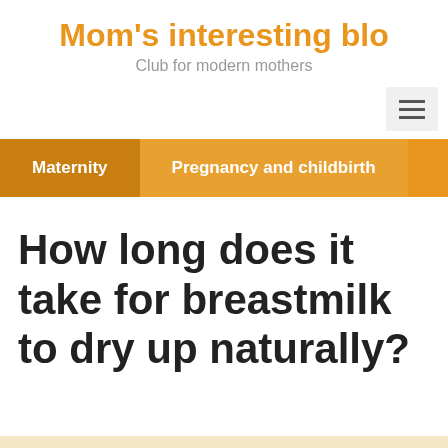Mom's interesting blo
Club for modern mothers
[Figure (other): Hamburger menu icon button]
Maternity  Pregnancy and childbirth
How long does it take for breastmilk to dry up naturally?